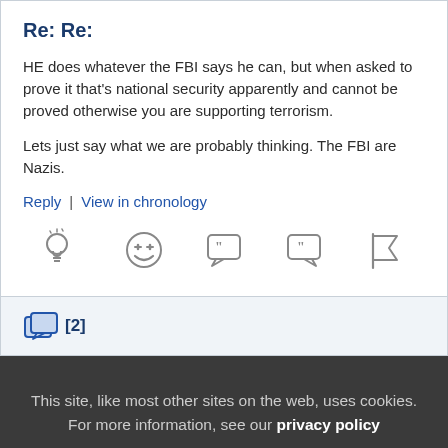Re: Re:
HE does whatever the FBI says he can, but when asked to prove it that's national security apparently and cannot be proved otherwise you are supporting terrorism.
Lets just say what we are probably thinking. The FBI are Nazis.
Reply | View in chronology
[Figure (infographic): Row of 5 icons: lightbulb, laughing emoji, left-quote speech bubble, right-quote speech bubble, flag]
[Figure (infographic): Speech bubble stack icon with [2] replies count]
This site, like most other sites on the web, uses cookies. For more information, see our privacy policy
GOT IT